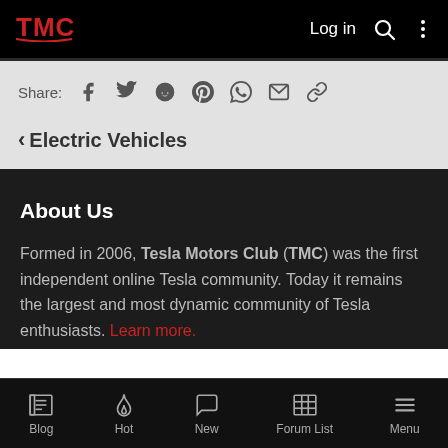TMC — Log in
Share: (social icons: Facebook, Twitter, Reddit, Pinterest, WhatsApp, Email, Link)
< Electric Vehicles
About Us
Formed in 2006, Tesla Motors Club (TMC) was the first independent online Tesla community. Today it remains the largest and most dynamic community of Tesla enthusiasts. Learn more.
Blog | Hot | New | Forum List | Menu